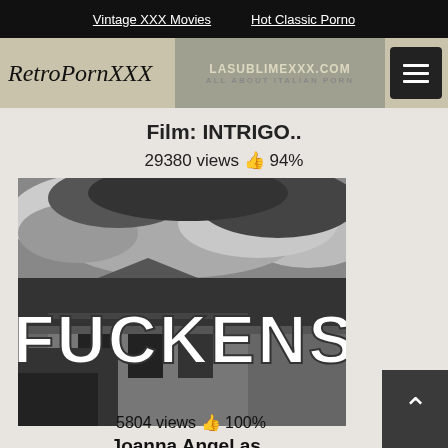Vintage XXX Movies   Hot Classic Porno
[Figure (screenshot): RetroPornXXX logo on left, LASUBLIMEXXX.COM ALL ABOUT ITALIAN PORN banner in center, hamburger menu button on right]
Film: INTRIGO..
29380 views 👍 94%
[Figure (photo): Black and white photo of a building with dramatic storm clouds above. Large white text overlay reads FUCKENSTEIN (partially visible, cropped on left).]
Joanna Angel as..
5804 views 👍 100%